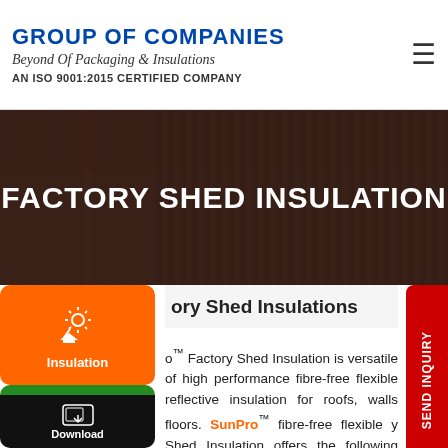GROUP OF COMPANIES
Beyond Of Packaging & Insulations
AN ISO 9001:2015 CERTIFIED COMPANY
[Figure (photo): Factory shed building exterior photo with dark overlay, used as hero banner background]
FACTORY SHED INSULATION
ory Shed Insulations
o™ Factory Shed Insulation is versatile of high performance fibre-free flexible reflective insulation for roofs, walls floors. SunPro™ fibre-free flexible y Shed Insulation offers the following benefits for your building insulation: